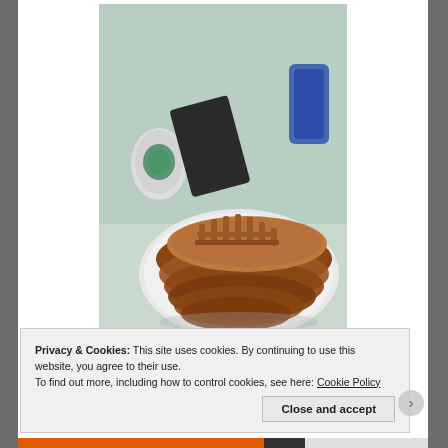[Figure (photo): A photo of a large layered pastry or bread shaped like a boat or ship, sitting on a white plate on a table. A Starbucks cup is visible in the background along with a blue object.]
Privacy & Cookies: This site uses cookies. By continuing to use this website, you agree to their use.
To find out more, including how to control cookies, see here: Cookie Policy
Close and accept